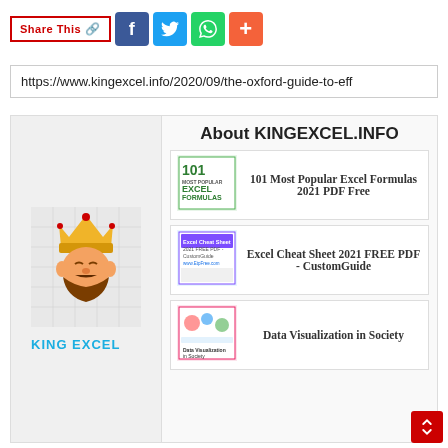Share This
https://www.kingexcel.info/2020/09/the-oxford-guide-to-eff
About KINGEXCEL.INFO
[Figure (logo): King Excel logo: cartoon king with crown and beard, text KING EXCEL in blue]
101 Most Popular Excel Formulas 2021 PDF Free
Excel Cheat Sheet 2021 FREE PDF - CustomGuide
Data Visualization in Society